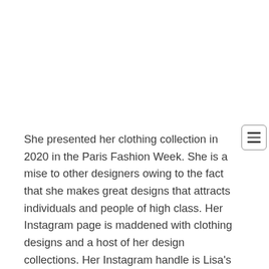She presented her clothing collection in 2020 in the Paris Fashion Week. She is a mise to other designers owing to the fact that she makes great designs that attracts individuals and people of high class. Her Instagram page is maddened with clothing designs and a host of her design collections. Her Instagram handle is Lisa's World.